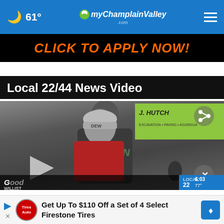🌙 61° myChamplainValley.com
[Figure (screenshot): Advertisement banner: black background with orange bold italic text 'CLICK TO APPLY NOW!']
Local 22/44 News Video
[Figure (screenshot): Video thumbnail showing two people at an outdoor construction event. A person in a red shirt wearing a hard hat labeled 'DEW' stands in foreground. Behind is a person in a Vermont hoodie. A yellow-green 'J. HUTCH...' banner for excavation/paving/aggregates is visible. A share icon is shown top right. A play button is visible. A close X button in a gray circle is at bottom right. Lower bar shows 'Good Morning / WILLIST' on left and Local 22 station bug with time 6:03 and 77° on right.]
Get Up To $110 Off a Set of 4 Select Firestone Tires